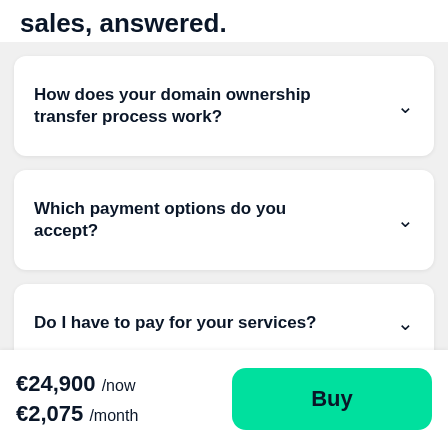sales, answered.
How does your domain ownership transfer process work?
Which payment options do you accept?
Do I have to pay for your services?
€24,900 /now €2,075 /month
Buy